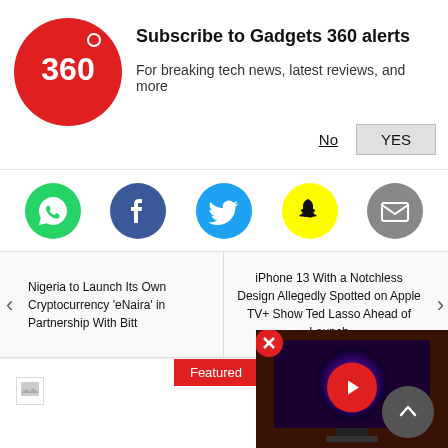[Figure (logo): Gadgets 360 red circular logo with '360' text]
Subscribe to Gadgets 360 alerts
For breaking tech news, latest reviews, and more
No   YES
[Figure (infographic): Social sharing icons row: WhatsApp, Facebook, Twitter, Snapchat, Email]
Nigeria to Launch Its Own Cryptocurrency 'eNaira' in Partnership With Bitt
iPhone 13 With a Notchless Design Allegedly Spotted on Apple TV+ Show Ted Lasso Ahead of Launch
Featured
[Figure (screenshot): Video thumbnail showing a TV with a galaxy/nebula image on screen, with a red play button overlay]